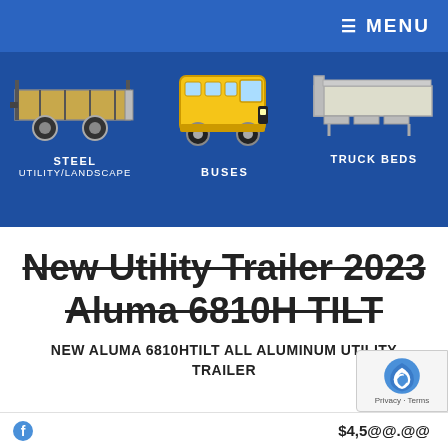≡ MENU
[Figure (screenshot): Navigation banner with three product category icons: Steel Utility/Landscape trailer image on left, yellow school Bus image in center, Truck Beds flatbed image on right, on dark blue background]
New Utility Trailer 2023 Aluma 6810H TILT
NEW ALUMA 6810HTILT ALL ALUMINUM UTILITY TRAILER